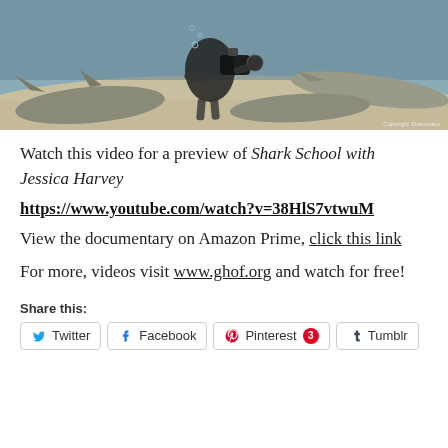[Figure (photo): Underwater photo of a scuba diver with camera equipment surrounded by sharks on a sandy ocean floor. Watermark text in bottom right corner.]
Watch this video for a preview of Shark School with Jessica Harvey
https://www.youtube.com/watch?v=38HlS7vtwuM
View the documentary on Amazon Prime, click this link
For more, videos visit www.ghof.org and watch for free!
Share this:
Twitter  Facebook  Pinterest 3  Tumblr